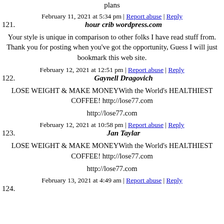plans
February 11, 2021 at 5:34 pm | Report abuse | Reply
121. hour crib wordpress.com
Your style is unique in comparison to other folks I have read stuff from. Thank you for posting when you've got the opportunity, Guess I will just bookmark this web site.
February 12, 2021 at 12:51 pm | Report abuse | Reply
122. Gaynell Dragovich
LOSE WEIGHT & MAKE MONEYWith the World's HEALTHIEST COFFEE! http://lose77.com
http://lose77.com
February 12, 2021 at 10:58 pm | Report abuse | Reply
123. Jan Taylar
LOSE WEIGHT & MAKE MONEYWith the World's HEALTHIEST COFFEE! http://lose77.com
http://lose77.com
February 13, 2021 at 4:49 am | Report abuse | Reply
124.